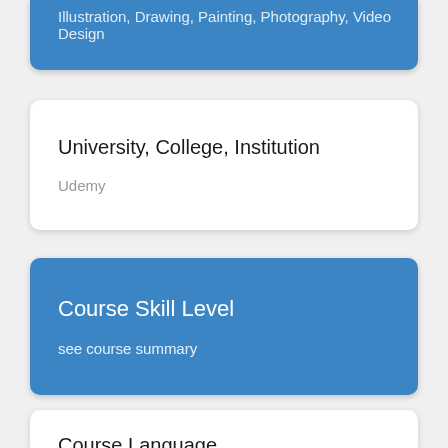Illustration, Drawing, Painting, Photography, Video Design
University, College, Institution
Udemy
Course Skill Level
see course summary
Course Language